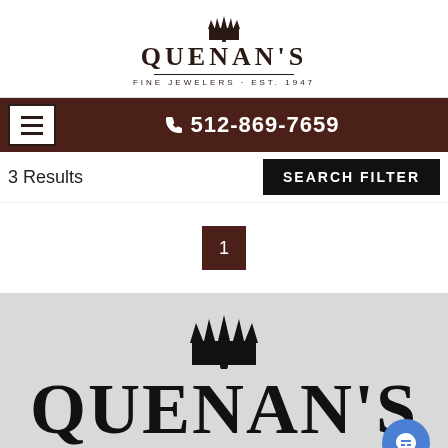[Figure (logo): Quenan's Fine Jewelers logo with crown icon, brand name, and tagline 'FINE JEWELERS · EST. 1947']
☎ 512-869-7659
3 Results
SEARCH FILTER
1
[Figure (logo): Quenan's logo with Rolex-style crown and large text QUENAN'S on grey background, with blue chat bubble icon]